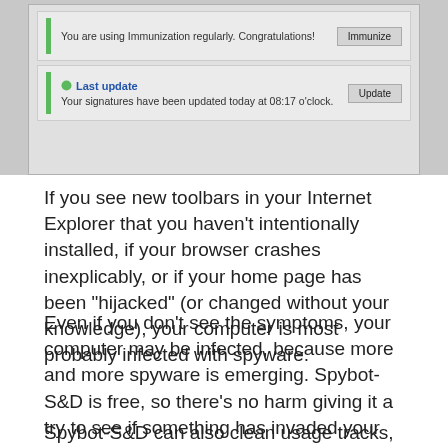[Figure (screenshot): Screenshot of a software UI showing two rows: one with 'You are using Immunization regularly. Congratulations!' and an 'Immunize' button, and another with a green icon, 'Last update' label, text 'Your signatures have been updated today at 08:17 o'clock.' and an 'Update' button.]
If you see new toolbars in your Internet Explorer that you haven't intentionally installed, if your browser crashes inexplicably, or if your home page has been "hijacked" (or changed without your knowledge), your computer is most probably infected with spyware.
Even if you don't see the symptoms, your computer may be infected, because more and more spyware is emerging. Spybot-S&D is free, so there's no harm giving it a try to see if something has invaded your computer.
Spybot-S&D can also clean usage tracks, an interesting function if you share your computer with other users and don't want them to see what you have been working on.